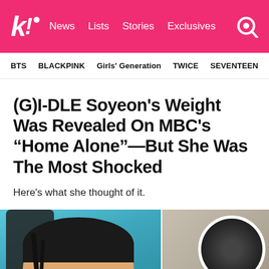k! News Lists Stories Exclusives
BTS  BLACKPINK  Girls' Generation  TWICE  SEVENTEEN
(G)I-DLE Soyeon's Weight Was Revealed On MBC's “Home Alone”—But She Was The Most Shocked
Here's what she thought of it.
[Figure (photo): Two photos: left shows a young Asian woman smiling with eyes closed, seated in a black chair against a teal background; right shows a circular framed dark photo.]